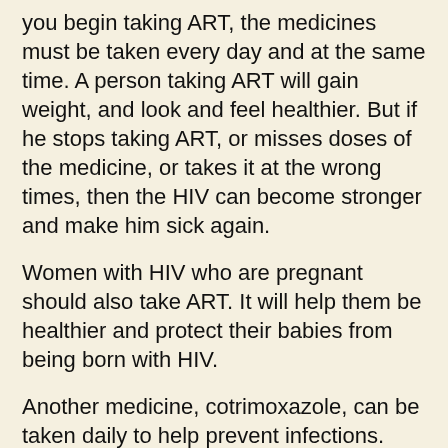you begin taking ART, the medicines must be taken every day and at the same time. A person taking ART will gain weight, and look and feel healthier. But if he stops taking ART, or misses doses of the medicine, or takes it at the wrong times, then the HIV can become stronger and make him sick again.
Women with HIV who are pregnant should also take ART. It will help them be healthier and protect their babies from being born with HIV.
Another medicine, cotrimoxazole, can be taken daily to help prevent infections. Cotrimoxazole is often a part of HIV treatment programs.
ART is becoming less costly and more available. Government health clinics as well as factory clinics may offer ART at low or no cost.